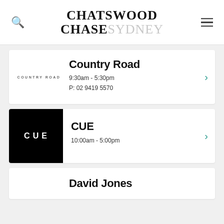CHATSWOOD CHASE SYDNEY
Country Road
9:30am - 5:30pm
P: 02 9419 5570
CUE
10:00am - 5:00pm
David Jones